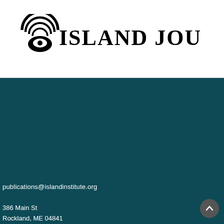[Figure (logo): Island Journal logo with concentric arc emblem and bold serif wordmark]
publications@islandinstitute.org
386 Main St
Rockland, ME 04841
[Figure (other): Social media icons: Twitter, Facebook, Instagram]
© 2020 Island Journal. All rights reserved.